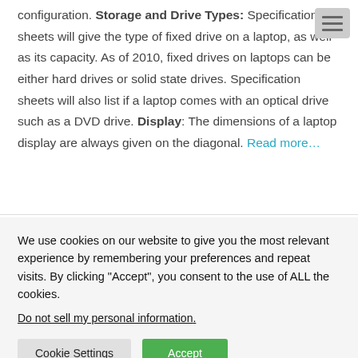configuration. Storage and Drive Types: Specification sheets will give the type of fixed drive on a laptop, as well as its capacity. As of 2010, fixed drives on laptops can be either hard drives or solid state drives. Specification sheets will also list if a laptop comes with an optical drive such as a DVD drive. Display: The dimensions of a laptop display are always given on the diagonal. Read more…
We use cookies on our website to give you the most relevant experience by remembering your preferences and repeat visits. By clicking "Accept", you consent to the use of ALL the cookies.
Do not sell my personal information.